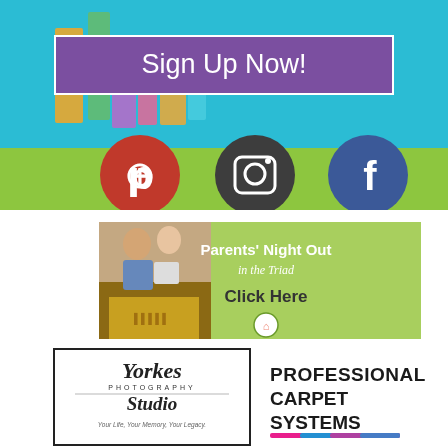[Figure (illustration): Top banner with teal/cyan background, colorful abstract city/shapes artwork, purple 'Sign Up Now!' button, green bar at bottom with Pinterest, Instagram, and Facebook social media icons]
[Figure (infographic): Parents' Night Out in the Triad advertisement banner with photo of couple and child on left, green background with white and dark text on right, small circular logo at bottom]
[Figure (logo): Yorkes Photography Studio logo in black border box — cursive text reading 'Yorkes Photography Studio, Your Life, Your Memory, Your Legacy']
[Figure (logo): Professional Carpet Systems logo with bold text and multicolor diagonal stripe]